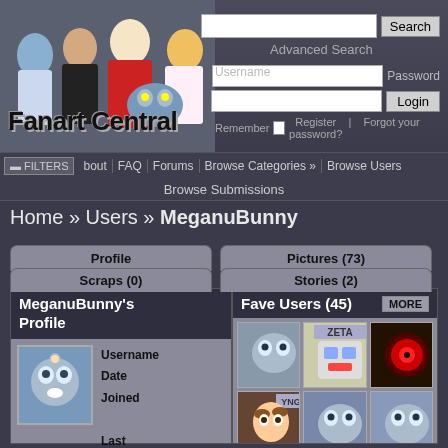[Figure (screenshot): Fanart Central website header with anime character illustrations and logo]
Advanced Search
Username  Password
Remember  Register  Forgot your password?
FILTERS  bout  FAQ  Forums  Browse Categories  Browse Users
Browse Submissions
Home » Users » MeganuBunny
Profile
Pictures (73)
Scraps (0)
Stories (2)
MeganuBunny's Profile
Username
Date Joined

Last Updated
Last visit
Fave Users (45)
[Figure (illustration): Grid of 6 user avatar thumbnails for Fave Users section]